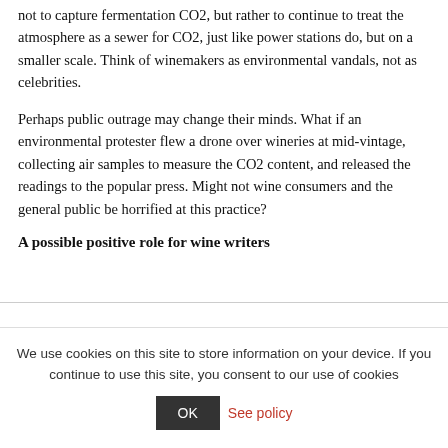not to capture fermentation CO2, but rather to continue to treat the atmosphere as a sewer for CO2, just like power stations do, but on a smaller scale. Think of winemakers as environmental vandals, not as celebrities.
Perhaps public outrage may change their minds. What if an environmental protester flew a drone over wineries at mid-vintage, collecting air samples to measure the CO2 content, and released the readings to the popular press. Might not wine consumers and the general public be horrified at this practice?
A possible positive role for wine writers
We use cookies on this site to store information on your device. If you continue to use this site, you consent to our use of cookies